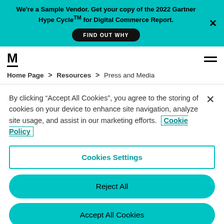We're a Sample Vendor. Get your copy of the 2022 Gartner Hype CycleTM for Digital Commerce Report. FIND OUT WHY
[Figure (logo): M logo with underline, hamburger menu icon]
Home Page > Resources > Press and Media
By clicking "Accept All Cookies", you agree to the storing of cookies on your device to enhance site navigation, analyze site usage, and assist in our marketing efforts. Cookie Policy
Cookies Settings
Reject All
Accept All Cookies